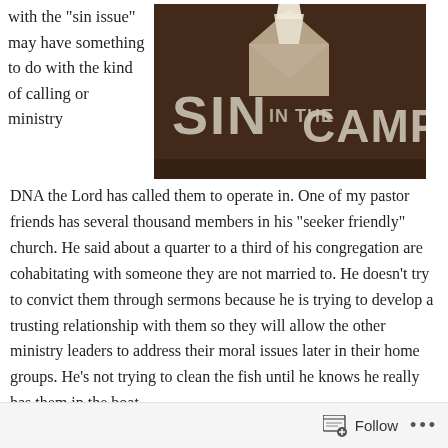with the “sin issue” may have something to do with the kind of calling or ministry
[Figure (photo): Dark brown background image with white envelope/paper shapes at top and large stylized text reading 'SIN IN THE CAMP']
DNA the Lord has called them to operate in. One of my pastor friends has several thousand members in his “seeker friendly” church. He said about a quarter to a third of his congregation are cohabitating with someone they are not married to. He doesn't try to convict them through sermons because he is trying to develop a trusting relationship with them so they will allow the other ministry leaders to address their moral issues later in their home groups. He's not trying to clean the fish until he knows he really has them in the boat.
Some of my other pastor friends see that philosophy as compromising the Word of God. They clearly see it as watering down the Gospel in
Follow •••